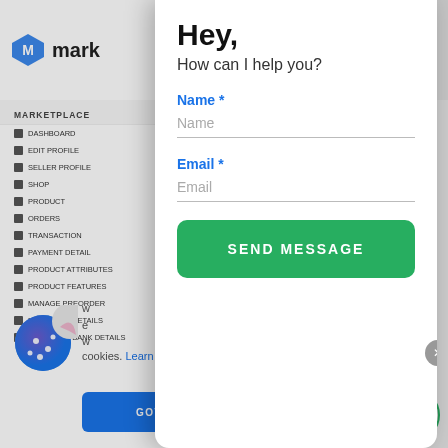[Figure (screenshot): Marketplace web application UI background showing logo, sidebar navigation menu with items like DASHBOARD, EDIT PROFILE, SELLER PROFILE, SHOP, PRODUCT, ORDERS, TRANSACTION, PAYMENT DETAIL, PRODUCT ATTRIBUTES, PRODUCT FEATURES, MANAGE PREORDER, MANGOPAY DETAILS, MANGOPAY BANK DETAILS, and content area with red arrow]
Hey,
How can I help you?
Name *
Name
Email *
Email
SEND MESSAGE
cookies. Learn More
GOT IT!